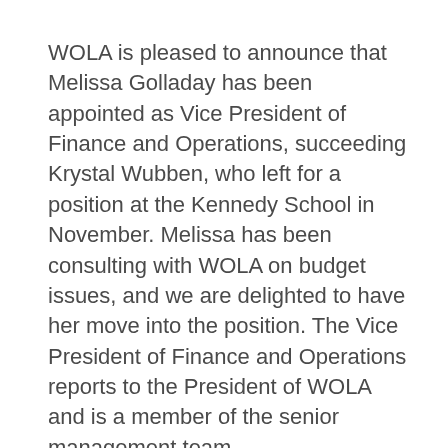WOLA is pleased to announce that Melissa Golladay has been appointed as Vice President of Finance and Operations, succeeding Krystal Wubben, who left for a position at the Kennedy School in November. Melissa has been consulting with WOLA on budget issues, and we are delighted to have her move into the position. The Vice President of Finance and Operations reports to the President of WOLA and is a member of the senior management team.
Melissa brings 15 years of experience in the budgeting and strategic planning for non-profits in the U.S. and internationally. Most recently, she was Vice President for Education and Global Citizenship at Partners of the Americas where she managed an annual portfolio of $2.75